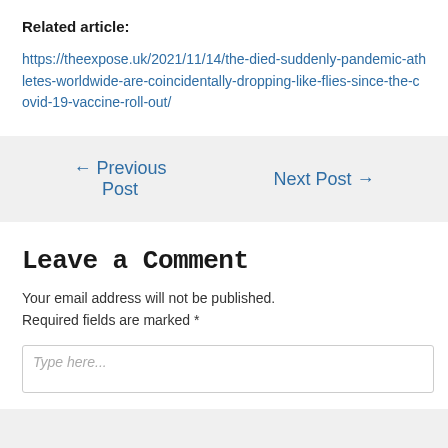Related article:
https://theexpose.uk/2021/11/14/the-died-suddenly-pandemic-athletes-worldwide-are-coincidentally-dropping-like-flies-since-the-covid-19-vaccine-roll-out/
← Previous Post
Next Post →
Leave a Comment
Your email address will not be published. Required fields are marked *
Type here...